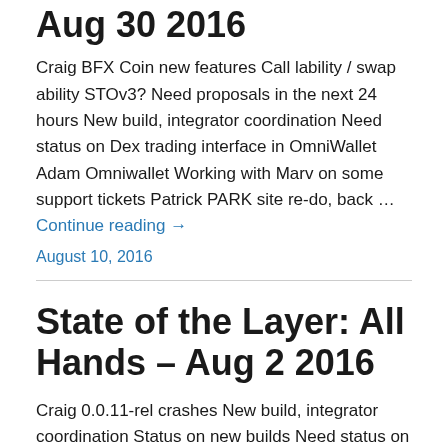Aug 30 2016
Craig BFX Coin new features Call lability / swap ability STOv3? Need proposals in the next 24 hours New build, integrator coordination Need status on Dex trading interface in OmniWallet Adam Omniwallet Working with Marv on some support tickets Patrick PARK site re-do, back … Continue reading →
August 10, 2016
State of the Layer: All Hands – Aug 2 2016
Craig 0.0.11-rel crashes New build, integrator coordination Status on new builds Need status on Dex trading interface in OmniWallet Adam Omniwallet Continuing to handle